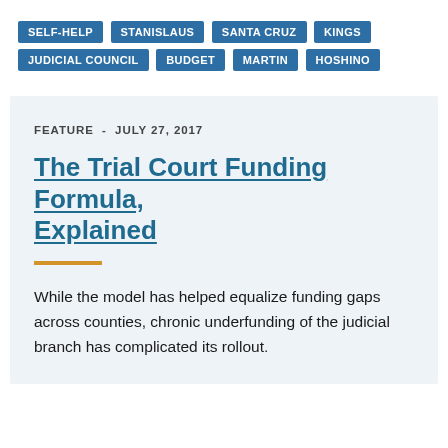SELF-HELP  STANISLAUS  SANTA CRUZ  KINGS  JUDICIAL COUNCIL  BUDGET  MARTIN  HOSHINO
FEATURE - JULY 27, 2017
The Trial Court Funding Formula, Explained
While the model has helped equalize funding gaps across counties, chronic underfunding of the judicial branch has complicated its rollout.